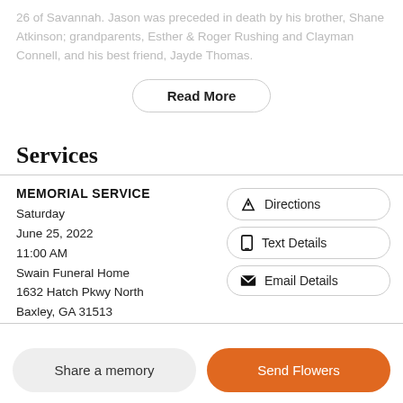26 of Savannah. Jason was preceded in death by his brother, Shane Atkinson; grandparents, Esther & Roger Rushing and Clayman Connell, and his best friend, Jayde Thomas.
Read More
Services
MEMORIAL SERVICE
Saturday
June 25, 2022
11:00 AM
Swain Funeral Home
1632 Hatch Pkwy North
Baxley, GA 31513
Directions
Text Details
Email Details
Share a memory
Send Flowers